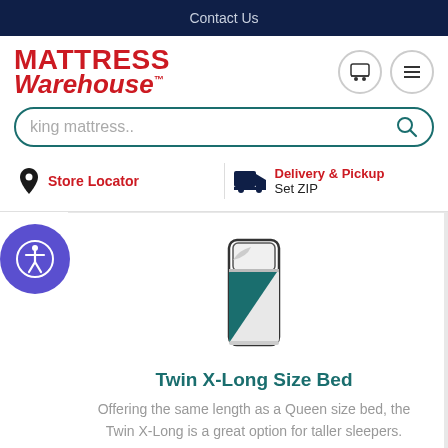Contact Us
[Figure (logo): Mattress Warehouse logo in red bold italic text]
king mattress..
Store Locator  Delivery & Pickup  Set ZIP
[Figure (illustration): Twin X-Long Size Bed illustration showing a tall narrow bed with teal/dark green bedding]
Twin X-Long Size Bed
Offering the same length as a Queen size bed, the Twin X-Long is a great option for taller sleepers.